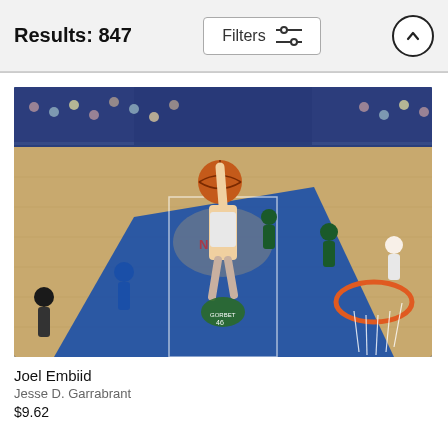Results: 847
[Figure (photo): NBA basketball game photo: Joel Embiid dunking over a defender near the basket, with other players visible on the court, crowd in background, Philadelphia 76ers home court.]
Joel Embiid
Jesse D. Garrabrant
$9.62